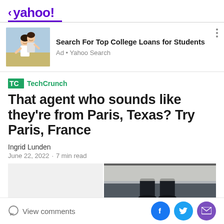< yahoo!
[Figure (photo): Advertisement banner: two young women laughing outdoors in a field]
Search For Top College Loans for Students
Ad • Yahoo Search
[Figure (logo): TechCrunch logo with TC icon in green]
That agent who sounds like they're from Paris, Texas? Try Paris, France
Ingrid Lunden
June 22, 2022  ·  7 min read
[Figure (photo): Article image showing person's feet/legs, partially visible, black and white/dark]
View comments
[Figure (other): Social share buttons: Facebook, Twitter, Email]